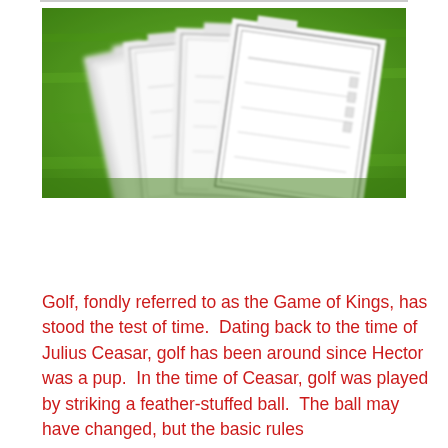[Figure (photo): Photo of several framed certificates or documents arranged in a fan/stack pattern against a green grass background. The documents appear to be official certificates with decorative borders, slightly blurred.]
Golf, fondly referred to as the Game of Kings, has stood the test of time.  Dating back to the time of Julius Ceasar, golf has been around since Hector was a pup.  In the time of Ceasar, golf was played by striking a feather-stuffed ball.  The ball may have changed, but the basic rules